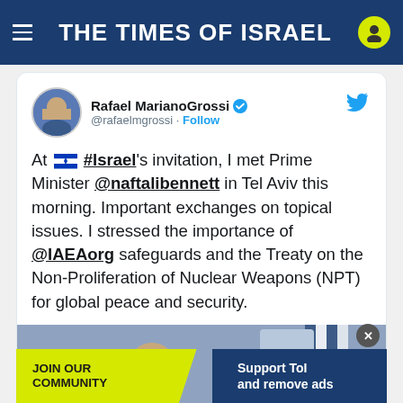THE TIMES OF ISRAEL
Rafael MarianoGrossi @rafaelmgrossi · Follow
At 🇮🇱 #Israel's invitation, I met Prime Minister @naftalibennett in Tel Aviv this morning. Important exchanges on topical issues. I stressed the importance of @IAEAorg safeguards and the Treaty on the Non-Proliferation of Nuclear Weapons (NPT) for global peace and security.
[Figure (photo): Two men in suits meeting, Israeli flags and state emblem visible in background]
JOIN OUR COMMUNITY | Support ToI and remove ads